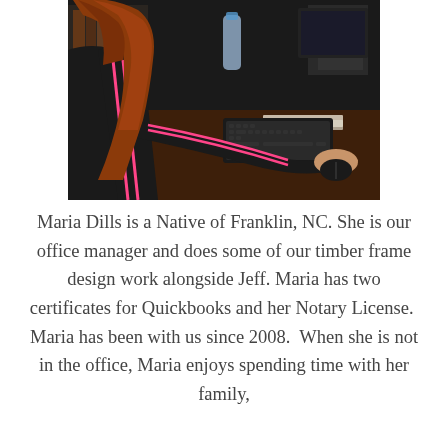[Figure (photo): A woman with long red hair wearing a black jacket with pink stripes, sitting at a desk working on a computer with a keyboard and mouse. A water bottle is visible on the dark wood desk in the background.]
Maria Dills is a Native of Franklin, NC. She is our office manager and does some of our timber frame design work alongside Jeff. Maria has two certificates for Quickbooks and her Notary License.  Maria has been with us since 2008.  When she is not in the office, Maria enjoys spending time with her family,